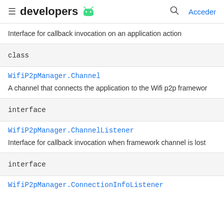developers [android logo] | [search] Acceder
Interface for callback invocation on an application action
class
WifiP2pManager.Channel
A channel that connects the application to the Wifi p2p framewor
interface
WifiP2pManager.ChannelListener
Interface for callback invocation when framework channel is lost
interface
WifiP2pManager.ConnectionInfoListener